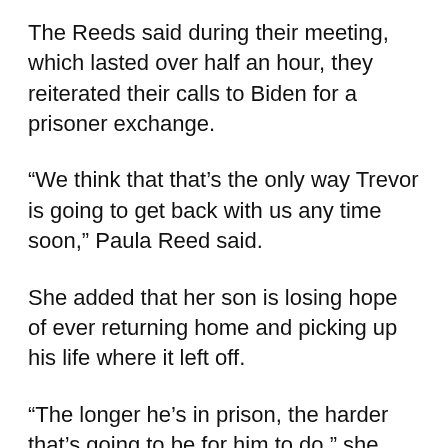The Reeds said during their meeting, which lasted over half an hour, they reiterated their calls to Biden for a prisoner exchange.
“We think that that’s the only way Trevor is going to get back with us any time soon,” Paula Reed said.
She added that her son is losing hope of ever returning home and picking up his life where it left off.
“The longer he’s in prison, the harder that’s going to be for him to do,” she said.
White House press secretary Jen Psaki said in a statement that, “during their meeting, the president reiterated his commitment to